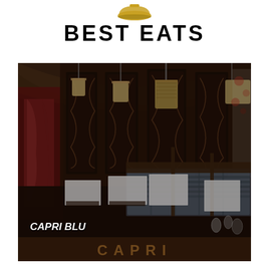BEST EATS
[Figure (photo): Interior of Capri Blu restaurant showing booths with white tablecloths, ornate dark wood wall panels with decorative ironwork, pendant lighting, and a warm, dimly lit atmosphere]
CAPRI BLU